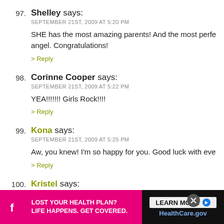97. Shelley says: SEPTEMBER 21ST, 2009 AT 5:20 PM — SHE has the most amazing parents! And the most perfect angel. Congratulations! > Reply
98. Corinne Cooper says: SEPTEMBER 21ST, 2009 AT 5:22 PM — YEA!!!!!!! Girls Rock!!!! > Reply
99. Kona says: SEPTEMBER 21ST, 2009 AT 5:25 PM — Aw, you knew! I'm so happy for you. Good luck with everything! > Reply
100. Kristel says:
[Figure (screenshot): Advertisement banner at bottom of page: pink section on left reading 'LOST YOUR HEALTH PLAN? LIFE HAPPENS. GET COVERED.' and dark section on right with 'LEARN MORE' button and 'HealthCare.gov' text.]